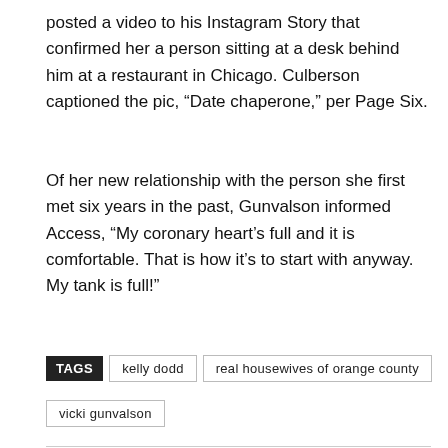posted a video to his Instagram Story that confirmed her a person sitting at a desk behind him at a restaurant in Chicago. Culberson captioned the pic, “Date chaperone,” per Page Six.
Of her new relationship with the person she first met six years in the past, Gunvalson informed Access, “My coronary heart’s full and it is comfortable. That is how it’s to start with anyway. My tank is full!”
TAGS kelly dodd real housewives of orange county vicki gunvalson